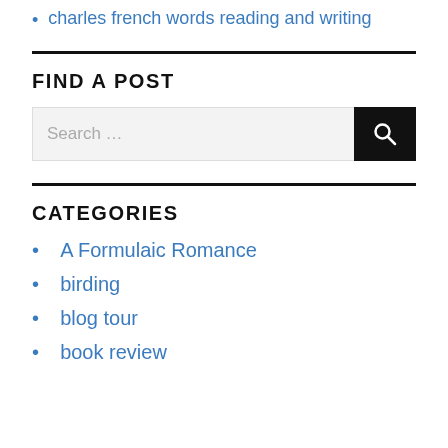charles french words reading and writing
FIND A POST
Search ...
CATEGORIES
A Formulaic Romance
birding
blog tour
book review